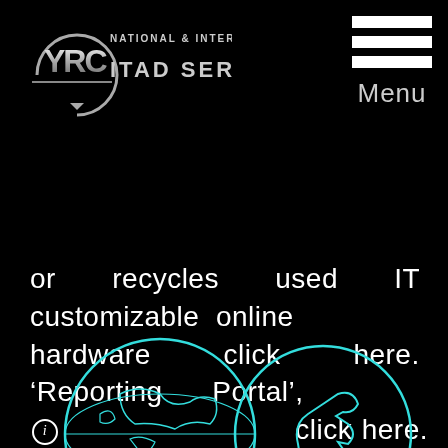[Figure (logo): YRC logo with circular arrow graphic and text 'NATIONAL & INTERNATIONAL ITAD SERVICES' on black background]
[Figure (infographic): Hamburger menu icon (three white horizontal bars) with 'Menu' label below]
or recycles used IT customizable online hardware click here. ‘Reporting Portal’, ⓘ click here. ⓘ
[Figure (illustration): Circular globe icon with cyan outline showing world map on black background]
[Figure (illustration): Circular icon with cyan outline showing a hand or tool graphic on black background]